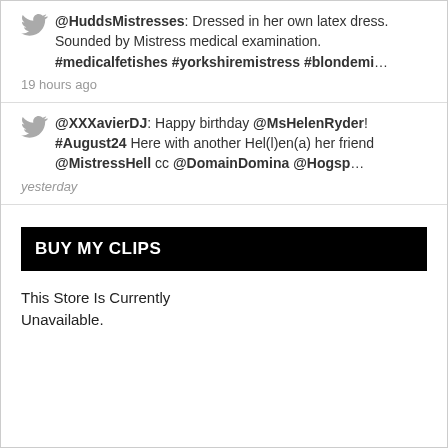@HuddsMistresses: Dressed in her own latex dress. Sounded by Mistress medical examination. #medicalfetishes #yorkshiremistress #blondemi… 19 hours ago
@XXXavierDJ: Happy birthday @MsHelenRyder! #August24 Here with another Hel(l)en(a) her friend @MistressHell cc @DomainDomina @Hogsp… yesterday
BUY MY CLIPS
This Store Is Currently Unavailable.